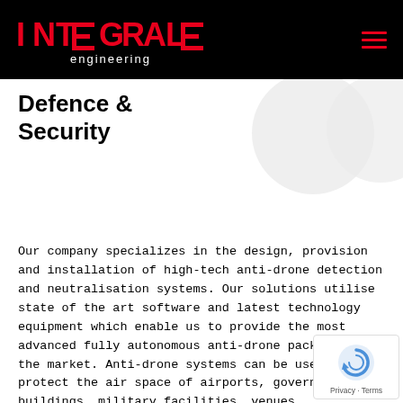INTEGRALE engineering
Defence & Security
[Figure (illustration): Two large light-gray circular shapes in the upper-right background area, decorative design elements]
Our company specializes in the design, provision and installation of high-tech anti-drone detection and neutralisation systems. Our solutions utilise state of the art software and latest technology equipment which enable us to provide the most advanced fully autonomous anti-drone package in the market. Anti-drone systems can be used to protect the air space of airports, governmental buildings, military facilities, venues, organizations and private properties. We also offer advanced artificial intelligence face recognition surveillance systems for safety and security authorities and organizations.
[Figure (logo): reCAPTCHA badge with circular arrow icon, showing Privacy and Terms links]